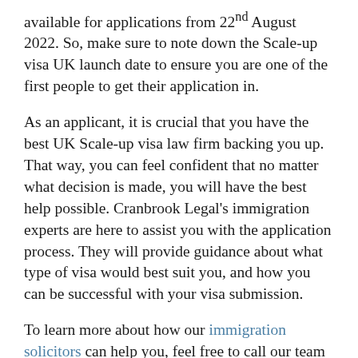available for applications from 22nd August 2022. So, make sure to note down the Scale-up visa UK launch date to ensure you are one of the first people to get their application in.
As an applicant, it is crucial that you have the best UK Scale-up visa law firm backing you up. That way, you can feel confident that no matter what decision is made, you will have the best help possible. Cranbrook Legal's immigration experts are here to assist you with the application process. They will provide guidance about what type of visa would best suit you, and how you can be successful with your visa submission.
To learn more about how our immigration solicitors can help you, feel free to call our team on 0208 215